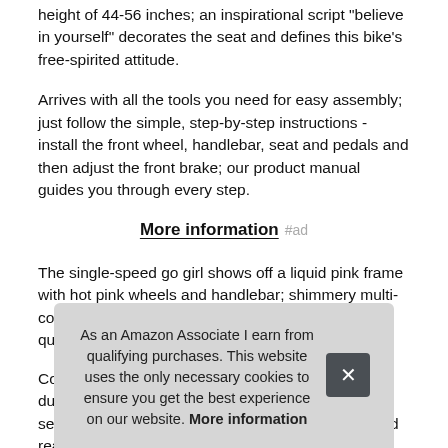height of 44-56 inches; an inspirational script "believe in yourself" decorates the seat and defines this bike's free-spirited attitude.
Arrives with all the tools you need for easy assembly; just follow the simple, step-by-step instructions - install the front wheel, handlebar, seat and pedals and then adjust the front brake; our product manual guides you through every step.
More information #ad
The single-speed go girl shows off a liquid pink frame with hot pink wheels and handlebar; shimmery multi-color streamers are a gorgeous addition; an alloy quick release for easy seat adju
Con dura see owner's manual for details; front hand brake and rear
As an Amazon Associate I earn from qualifying purchases. This website uses the only necessary cookies to ensure you get the best experience on our website. More information